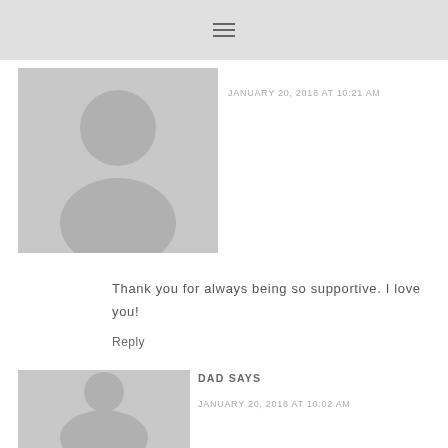[Figure (illustration): Generic grey avatar placeholder silhouette image for first commenter]
JANUARY 20, 2018 AT 10:21 AM
Thank you for always being so supportive. I love you!
Reply
[Figure (illustration): Generic grey avatar placeholder silhouette image for DAD commenter]
DAD SAYS
JANUARY 20, 2018 AT 10:02 AM